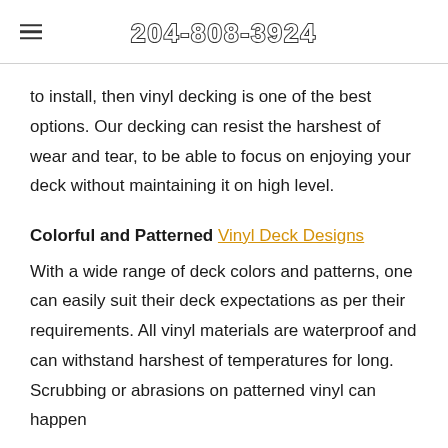204-808-3924
to install, then vinyl decking is one of the best options. Our decking can resist the harshest of wear and tear, to be able to focus on enjoying your deck without maintaining it on high level.
Colorful and Patterned Vinyl Deck Designs
With a wide range of deck colors and patterns, one can easily suit their deck expectations as per their requirements. All vinyl materials are waterproof and can withstand harshest of temperatures for long. Scrubbing or abrasions on patterned vinyl can happen